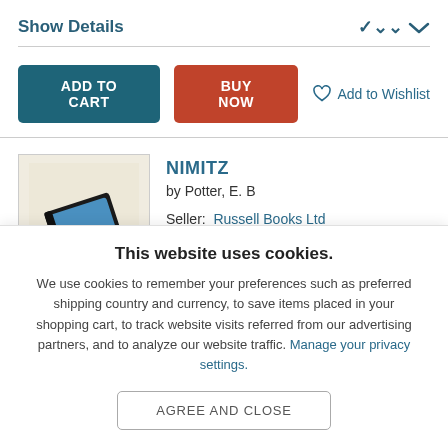Show Details
[Figure (screenshot): ADD TO CART button (dark teal), BUY NOW button (red-orange), Add to Wishlist link with heart icon]
[Figure (photo): Book cover thumbnail showing a dark tablet/book device on a light background]
NIMITZ
by Potter, E. B
Seller: Russell Books Ltd
Condition: New
This website uses cookies.
We use cookies to remember your preferences such as preferred shipping country and currency, to save items placed in your shopping cart, to track website visits referred from our advertising partners, and to analyze our website traffic. Manage your privacy settings.
AGREE AND CLOSE